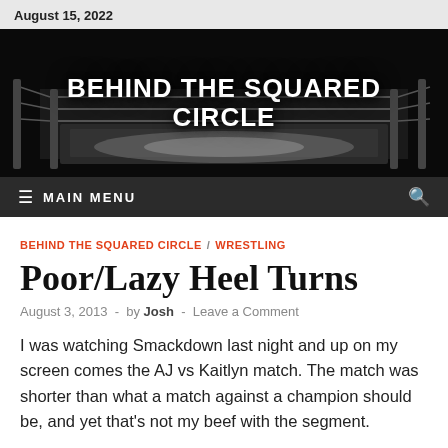August 15, 2022
[Figure (photo): Banner image of a wrestling ring in black and white with the text 'BEHIND THE SQUARED CIRCLE' in large bold white letters]
MAIN MENU
BEHIND THE SQUARED CIRCLE / WRESTLING
Poor/Lazy Heel Turns
August 3, 2013 - by Josh - Leave a Comment
I was watching Smackdown last night and up on my screen comes the AJ vs Kaitlyn match. The match was shorter than what a match against a champion should be, and yet that's not my beef with the segment.